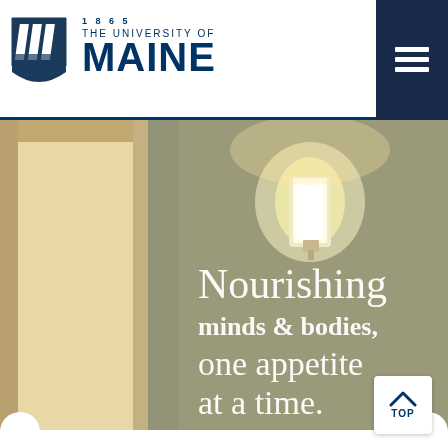1865 THE UNIVERSITY OF MAINE
[Figure (photo): Interior photo of a room with sage green wall, a wall-mounted sconce light glowing warmly, and text on the wall reading 'Nourishing minds & bodies, one appetite at a time.' Left side shows cream/beige architectural detail of a doorway or alcove.]
Nourishing minds & bodies, one appetite at a time.